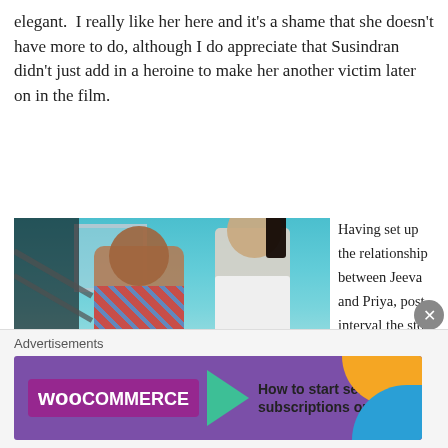elegant.  I really like her here and it's a shame that she doesn't have more to do, although I do appreciate that Susindran didn't just add in a heroine to make her another victim later on in the film.
[Figure (photo): Two movie stills stacked: top still shows a man looking up at a woman on stairs against a blue wall; bottom still shows a beach scene with a woman under a blue umbrella.]
Having set up the relationship between Jeeva and Priya, post interval the story switches back to the gang of
Advertisements
[Figure (other): WooCommerce advertisement banner with purple background, green arrow, and text 'How to start selling subscriptions online']